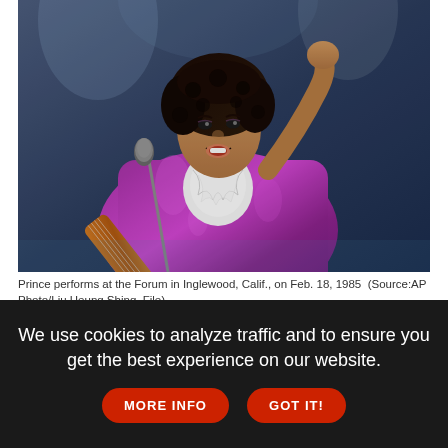[Figure (photo): Prince performing on stage at the Forum in Inglewood, California on Feb. 18, 1985. He is wearing a shiny purple jacket, holding a guitar, singing into a microphone with one arm raised.]
Prince performs at the Forum in Inglewood, Calif., on Feb. 18, 1985  (Source:AP Photo/Liu Heung Shing, File)
The first thing you hear is a familiar voice over the sound of thousands of screaming fans.
We use cookies to analyze traffic and to ensure you get the best experience on our website.  MORE INFO  GOT IT!